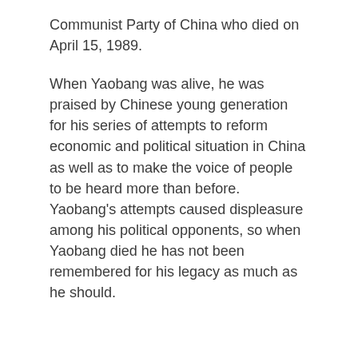Communist Party of China who died on April 15, 1989.
When Yaobang was alive, he was praised by Chinese young generation for his series of attempts to reform economic and political situation in China as well as to make the voice of people to be heard more than before.  Yaobang’s attempts caused displeasure among his political opponents, so when Yaobang died he has not been remembered for his legacy as much as he should.